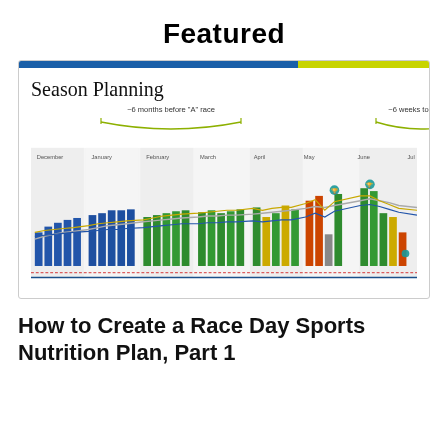Featured
[Figure (screenshot): Season Planning chart showing training load bars in blue, green, orange, yellow, grey colors with line overlays, months from December to July on x-axis, annotations '~6 months before A race' and '~6 weeks to update']
How to Create a Race Day Sports Nutrition Plan, Part 1